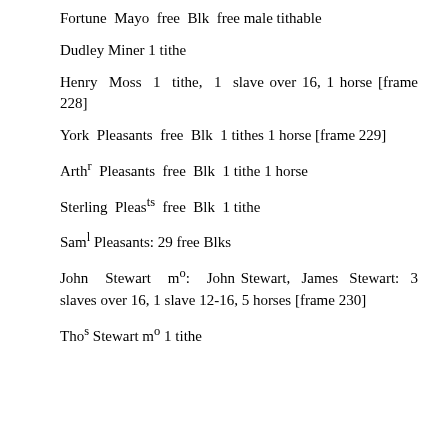Fortune Mayo free Blk free male tithable
Dudley Miner 1 tithe
Henry Moss 1 tithe, 1 slave over 16, 1 horse [frame 228]
York Pleasants free Blk 1 tithes 1 horse [frame 229]
Arthr Pleasants free Blk 1 tithe 1 horse
Sterling Pleasts free Blk 1 tithe
Saml Pleasants: 29 free Blks
John Stewart mo: John Stewart, James Stewart: 3 slaves over 16, 1 slave 12-16, 5 horses [frame 230]
Thos Stewart mo 1 tithe